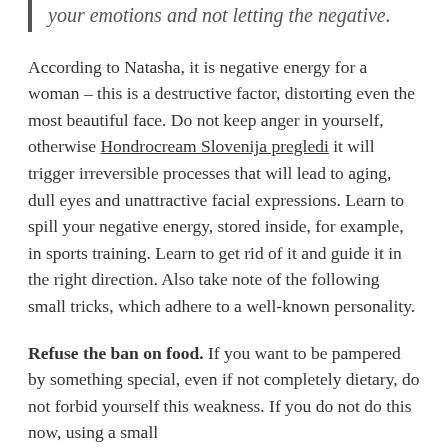your emotions and not letting the negative.
According to Natasha, it is negative energy for a woman – this is a destructive factor, distorting even the most beautiful face. Do not keep anger in yourself, otherwise Hondrocream Slovenija pregledi it will trigger irreversible processes that will lead to aging, dull eyes and unattractive facial expressions. Learn to spill your negative energy, stored inside, for example, in sports training. Learn to get rid of it and guide it in the right direction. Also take note of the following small tricks, which adhere to a well-known personality.
Refuse the ban on food. If you want to be pampered by something special, even if not completely dietary, do not forbid yourself this weakness. If you do not do this now, using a small